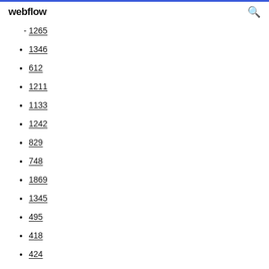webflow
1265
1346
612
1211
1133
1242
829
748
1869
1345
495
418
424